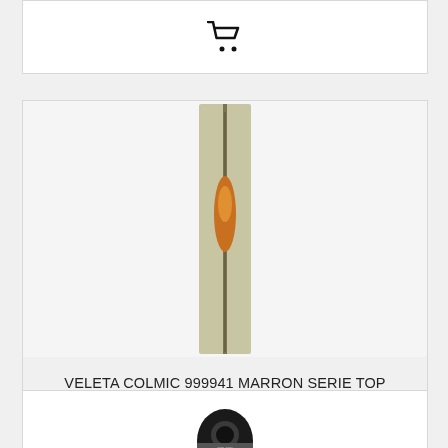[Figure (other): Shopping cart icon button at top of page (partial card)]
[Figure (photo): Product photo of a long slim fishing float (veleta) with orange oval body on a thin pole, against a neutral background]
VELETA COLMIC 999941 MARRON SERIE TOP ALARGADA ANTENA FINA
1,50 €
[Figure (other): Shopping cart icon button]
[Figure (photo): Partial product image at bottom of page, appears to be a dark colored fishing tackle item]